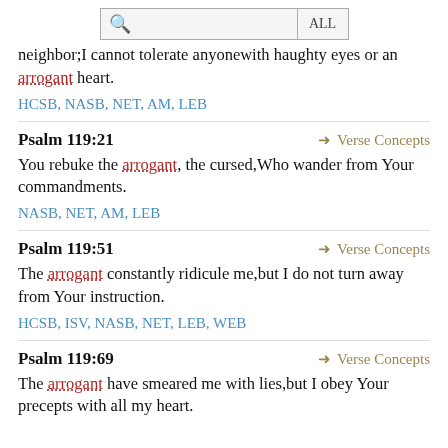[Figure (screenshot): Search bar with magnifying glass icon and ALL button]
neighbor;I cannot tolerate anyonewith haughty eyes or an arrogant heart.
HCSB, NASB, NET, AM, LEB
Psalm 119:21
Verse Concepts
You rebuke the arrogant, the cursed,Who wander from Your commandments.
NASB, NET, AM, LEB
Psalm 119:51
Verse Concepts
The arrogant constantly ridicule me,but I do not turn away from Your instruction.
HCSB, ISV, NASB, NET, LEB, WEB
Psalm 119:69
Verse Concepts
The arrogant have smeared me with lies,but I obey Your precepts with all my heart.